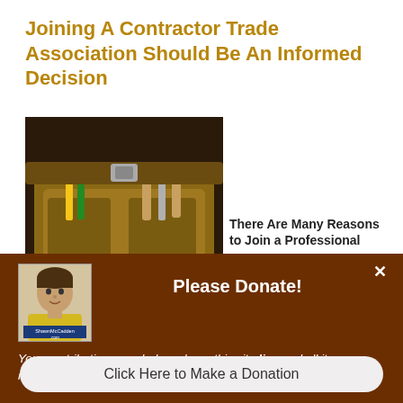Joining A Contractor Trade Association Should Be An Informed Decision
[Figure (photo): Close-up photo of a contractor's tool belt with tools including pencils and other implements]
There Are Many Reasons to Join a Professional
[Figure (screenshot): Donation modal overlay with dark brown background containing a headshot of Shawn McCadden, a Please Donate! heading, italic body text, and a donation button]
Please Donate!
Your contributions can help us keep this site live and all its resources available for contractors online!
Click Here to Make a Donation